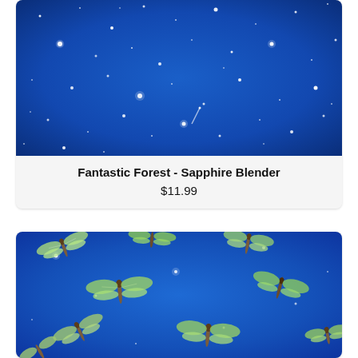[Figure (photo): Blue starry night sky fabric with scattered glowing white dots and sparkles — Fantastic Forest Sapphire Blender fabric]
Fantastic Forest - Sapphire Blender
$11.99
[Figure (photo): Blue fabric with green dragonflies and glowing white sparkles scattered throughout — Fantastic Forest dragonfly fabric]